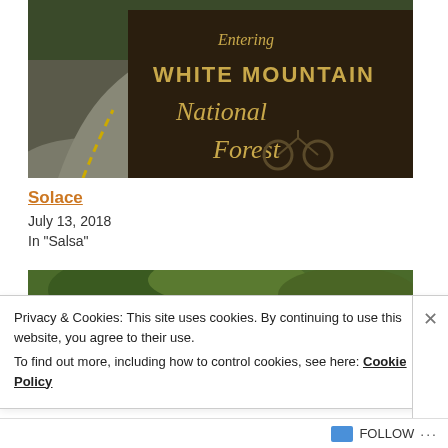[Figure (photo): A dark brown wooden sign reading 'Entering WHITE MOUNTAIN National Forest' with a winding road and trees in the background.]
Solace
July 13, 2018
In "Salsa"
[Figure (photo): Close-up of bicycle handlebars with green leafy trees in the background.]
Privacy & Cookies: This site uses cookies. By continuing to use this website, you agree to their use.
To find out more, including how to control cookies, see here: Cookie Policy
Close and accept
FOLLOW ...